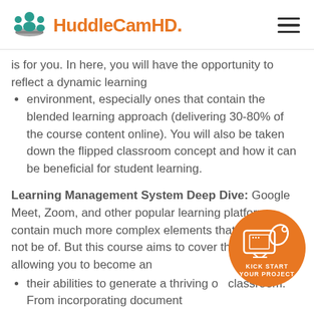HuddleCamHD.
is for you. In here, you will have the opportunity to reflect a dynamic learning
environment, especially ones that contain the blended learning approach (delivering 30-80% of the course content online). You will also be taken down the flipped classroom concept and how it can be beneficial for student learning.
Learning Management System Deep Dive: Google Meet, Zoom, and other popular learning platforms contain much more complex elements that you may not be of. But this course aims to cover these features, allowing you to become an
their abilities to generate a thriving on classroom. From incorporating document
[Figure (illustration): Orange circular button with rocket/screen icon and text KICK START YOUR PROJECT]